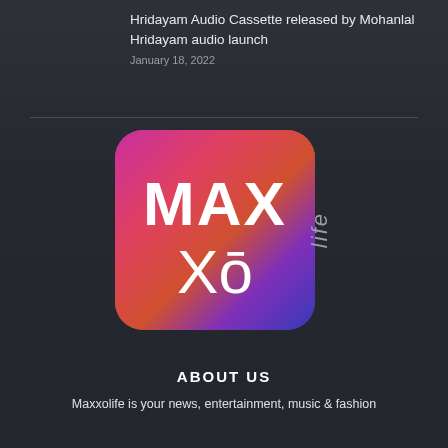Hridayam Audio Cassette released by Mohanlal Hridayam audio launch
January 18, 2022
[Figure (logo): MAXXo life logo — rounded square with pink-to-purple gradient background, white MAX text on top and Xo with macron below]
ABOUT US
Maxxolife is your news, entertainment, music & fashion